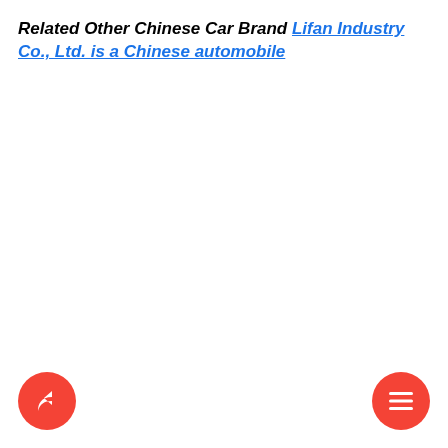Related Other Chinese Car Brand Lifan Industry Co., Ltd. is a Chinese automobile
[Figure (other): Red circular share/forward button icon at bottom left]
[Figure (other): Red circular hamburger menu button icon at bottom right]